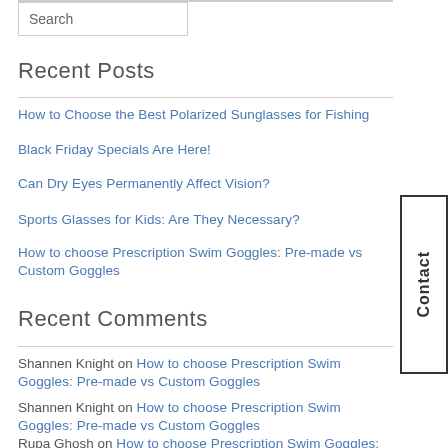Search
Recent Posts
How to Choose the Best Polarized Sunglasses for Fishing
Black Friday Specials Are Here!
Can Dry Eyes Permanently Affect Vision?
Sports Glasses for Kids: Are They Necessary?
How to choose Prescription Swim Goggles: Pre-made vs Custom Goggles
Recent Comments
Shannen Knight on How to choose Prescription Swim Goggles: Pre-made vs Custom Goggles
Shannen Knight on How to choose Prescription Swim Goggles: Pre-made vs Custom Goggles
Rupa Ghosh on How to choose Prescription Swim Goggles: Pre-